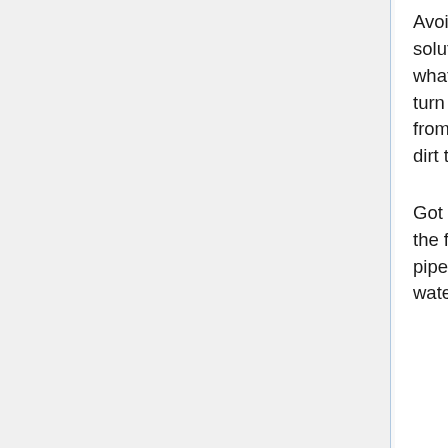Avoid using difficult products on the lavatories, Plomberie like decline-in solution tabs from the tank. When these tabs are almost fully dissolved, what's still left of the tab receives laundered into the dish. This may then turn out blocking the toilet's dock openings, protecting against the lavatory from eliminating effectively. Normally it takes several weeks just for this dirt to complete dissolving in those slots.
Got a leaky tube? Oftentimes you can fix this oneself without the need of the fee for a local plumber. In case a joint is leaking, tighten up it using a pipe wrench. In case the leak is originating coming from a broken part of water pipe, you can try repairing using a retailer-